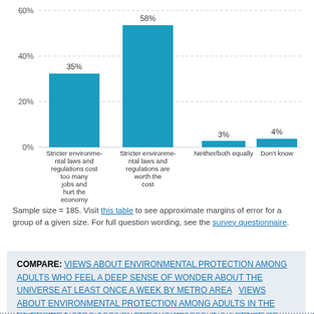[Figure (bar-chart): ]
Sample size = 185. Visit this table to see approximate margins of error for a group of a given size. For full question wording, see the survey questionnaire.
COMPARE: VIEWS ABOUT ENVIRONMENTAL PROTECTION AMONG ADULTS WHO FEEL A DEEP SENSE OF WONDER ABOUT THE UNIVERSE AT LEAST ONCE A WEEK BY METRO AREA   VIEWS ABOUT ENVIRONMENTAL PROTECTION AMONG ADULTS IN THE RIVERSIDE METRO AREA BY FREQUENCY FEELING A SENSE OF WONDER ABOUT THE UNIVERSE